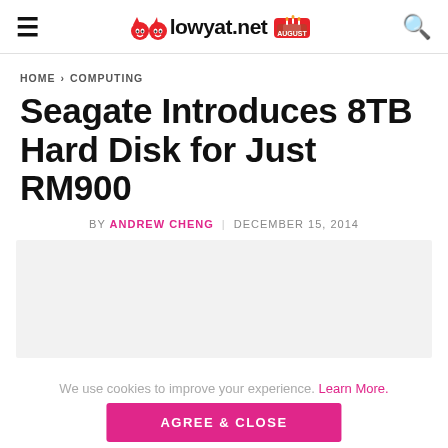lowyat.net
HOME > COMPUTING
Seagate Introduces 8TB Hard Disk for Just RM900
BY ANDREW CHENG  DECEMBER 15, 2014
[Figure (other): Article featured image placeholder, light gray background]
We use cookies to improve your experience. Learn More.
AGREE & CLOSE